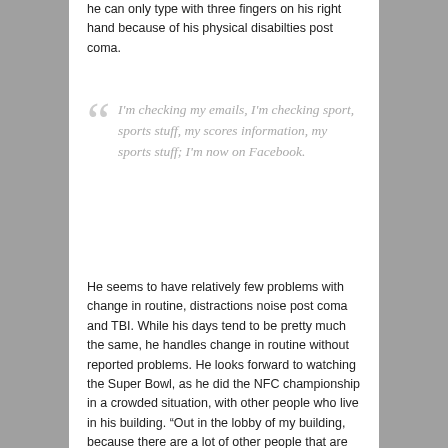he can only type with three fingers on his right hand because of his physical disabilties post coma.
I'm checking my emails, I'm checking sport, sports stuff, my scores information, my sports stuff; I'm now on Facebook.
He seems to have relatively few problems with change in routine, distractions noise post coma and TBI. While his days tend to be pretty much the same, he handles change in routine without reported problems. He looks forward to watching the Super Bowl, as he did the NFC championship in a crowded situation, with other people who live in his building. “Out in the lobby of my building, because there are a lot of other people that are handicapped.”